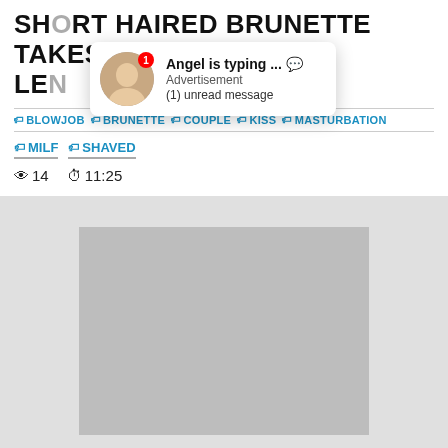SHORT HAIRED BRUNETTE TAKES HIS LEN...
Angel is typing ... 💬
Advertisement
(1) unread message
🏷 BLOWJOB  🏷 BRUNETTE  🏷 COUPLE  🏷 KISS  🏷 MASTURBATION
🏷 MILF  🏷 SHAVED
👁 14  ⏱ 11:25
[Figure (photo): Gray placeholder rectangle in bottom area of page]